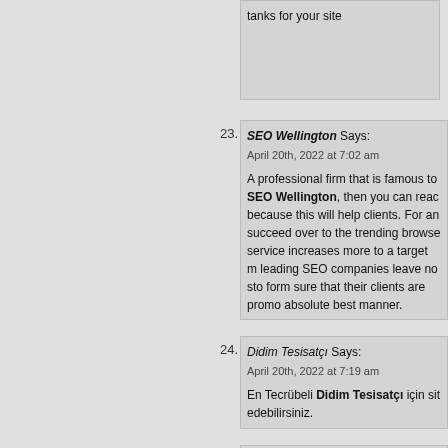tanks for your site
23. SEO Wellington Says:
April 20th, 2022 at 7:02 am

A professional firm that is famous to SEO Wellington, then you can reach because this will help clients. For any succeed over to the trending browser service increases more to a target m leading SEO companies leave no sto form sure that their clients are promo absolute best manner.
24. Didim Tesisatçı Says:
April 20th, 2022 at 7:19 am

En Tecrübeli Didim Tesisatçı için sit edebilirsiniz.
25. آدی فروت Says:
April 20th, 2022 at 7:43 am

خشک زیاد شده که خریدش سخت شده.